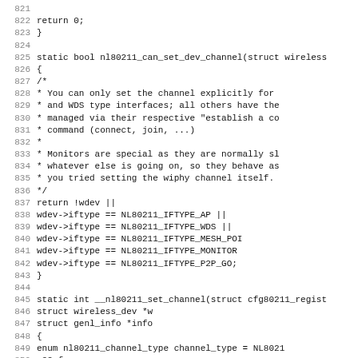[Figure (screenshot): Source code listing in monospace font showing C code for nl80211 Linux wireless driver functions, lines 821-852+. Functions shown: nl80211_can_set_dev_channel and __nl80211_set_channel. Line numbers in grey on left, code in black monospace font on white background.]